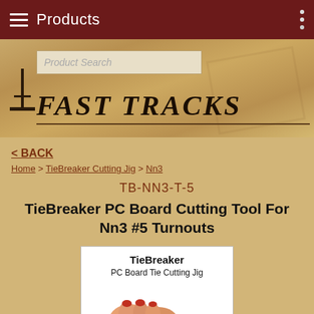Products
[Figure (screenshot): Fast Tracks logo with product search bar on parchment-textured banner]
< BACK
Home > TieBreaker Cutting Jig > Nn3
TB-NN3-T-5
TieBreaker PC Board Cutting Tool For Nn3 #5 Turnouts
[Figure (photo): Product box showing TieBreaker PC Board Tie Cutting Jig with hands holding tool at bottom]